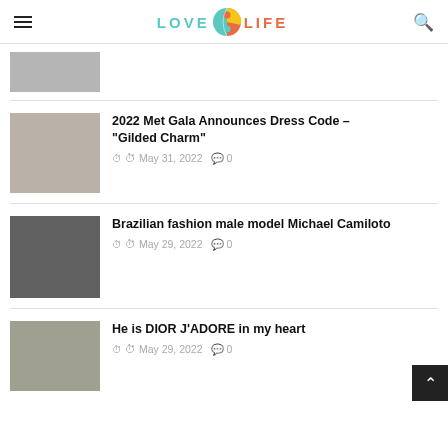LOVE LIFE
[Figure (photo): Partial thumbnail of first article (cropped, top of page)]
2022 Met Gala Announces Dress Code – "Gilded Charm"
May 31, 2022  0
[Figure (photo): Photo of Brazilian fashion male model Michael Camiloto]
Brazilian fashion male model Michael Camiloto
May 29, 2022  0
[Figure (photo): Photo for article: He is DIOR J'ADORE in my heart]
He is DIOR J'ADORE in my heart
May 29, 2022  0